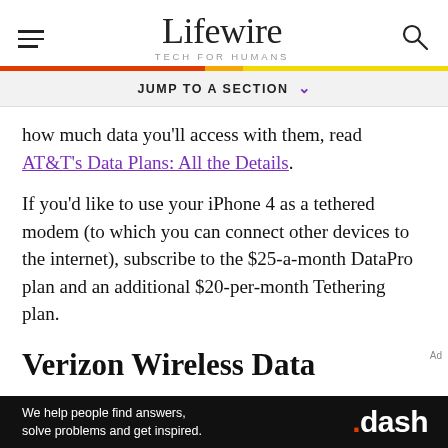Lifewire — TECH FOR HUMANS
JUMP TO A SECTION
how much data you'll access with them, read AT&T's Data Plans: All the Details.
If you'd like to use your iPhone 4 as a tethered modem (to which you can connect other devices to the internet), subscribe to the $25-a-month DataPro plan and an additional $20-per-month Tethering plan.
Verizon Wireless Data
[Figure (other): Advertisement banner: 'We help people find answers, solve problems and get inspired.' with .dash logo]